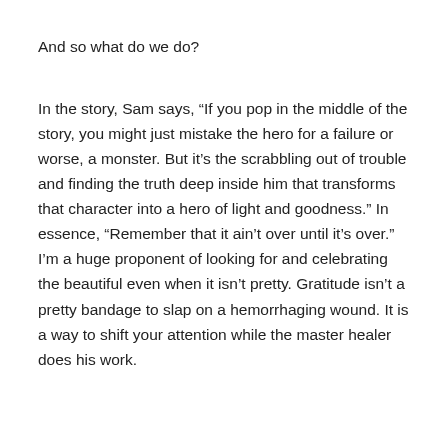And so what do we do?
In the story, Sam says, “If you pop in the middle of the story, you might just mistake the hero for a failure or worse, a monster. But it’s the scrabbling out of trouble and finding the truth deep inside him that transforms that character into a hero of light and goodness.” In essence, “Remember that it ain’t over until it’s over.” I’m a huge proponent of looking for and celebrating the beautiful even when it isn’t pretty. Gratitude isn’t a pretty bandage to slap on a hemorrhaging wound. It is a way to shift your attention while the master healer does his work.